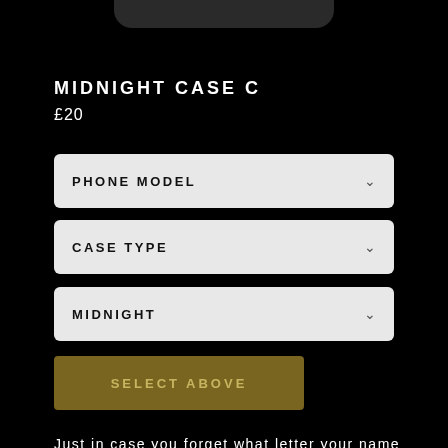[Figure (screenshot): Dark rounded rectangle bar at top of page (phone UI top bar)]
MIDNIGHT CASE C
£20
PHONE MODEL
CASE TYPE
MIDNIGHT
SELECT ABOVE
Just in case you forget what letter your name begins with, grab yourself a Ded Pop alphabet phone case as a gentle reminder. A perfect gift for yourself or a mate, each case comes in a